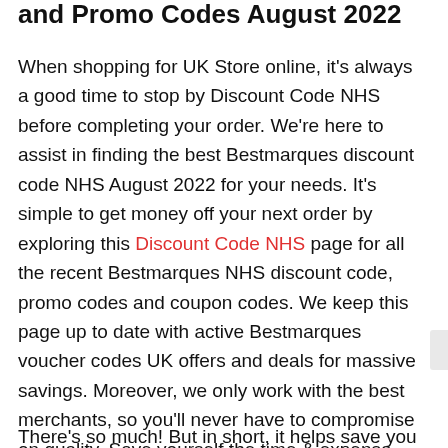and Promo Codes August 2022
When shopping for UK Store online, it's always a good time to stop by Discount Code NHS before completing your order. We're here to assist in finding the best Bestmarques discount code NHS August 2022 for your needs. It's simple to get money off your next order by exploring this Discount Code NHS page for all the recent Bestmarques NHS discount code, promo codes and coupon codes. We keep this page up to date with active Bestmarques voucher codes UK offers and deals for massive savings. Moreover, we only work with the best merchants, so you'll never have to compromise on quality. Save yourself the time & expense Bestmarques Discount Code UK voucher August 2022 and promotions today for fantastic savings!
There's so much! But in short, it helps save you money